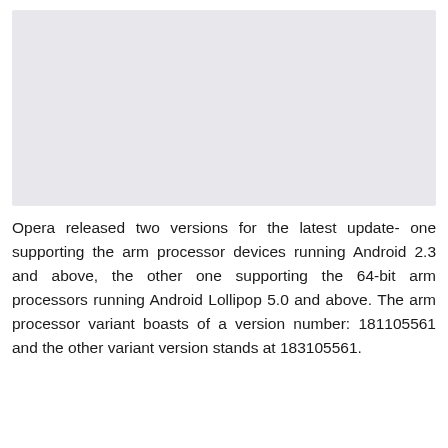[Figure (other): Light grey rectangular image placeholder area]
Opera released two versions for the latest update- one supporting the arm processor devices running Android 2.3 and above, the other one supporting the 64-bit arm processors running Android Lollipop 5.0 and above. The arm processor variant boasts of a version number: 181105561 and the other variant version stands at 183105561.